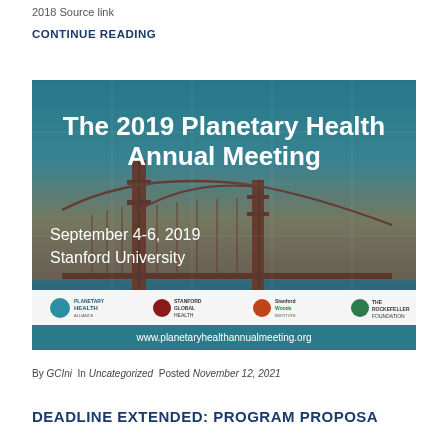2018 Source link
CONTINUE READING
[Figure (photo): Promotional banner for The 2019 Planetary Health Annual Meeting showing the Golden Gate Bridge at sunset. Text: 'The 2019 Planetary Health Annual Meeting', 'September 4-6, 2019', 'Stanford University'. Logos for Planetary Health Alliance, Stanford Global Health, Stanford Woods Institute for the Environment, The Rockefeller Foundation, and website www.planetaryhealthannualmeeting.org]
By GCIni In Uncategorized Posted November 12, 2021
DEADLINE EXTENDED: PROGRAM PROPOSA